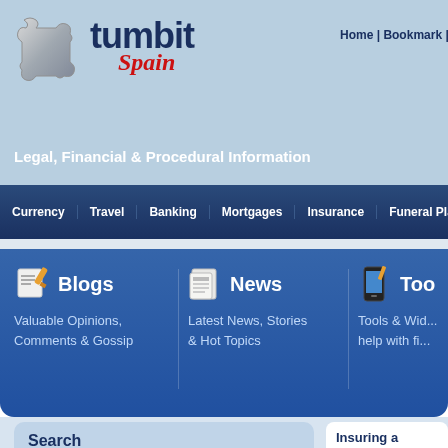[Figure (logo): Tumbit Spain logo with puzzle piece icon and text]
Home | Bookmark | Make Home
Legal, Financial & Procedural Information
Currency | Travel | Banking | Mortgages | Insurance | Funeral Plans
[Figure (infographic): Feature banner with Blogs, News, and Tools sections]
Blogs - Valuable Opinions, Comments & Gossip
News - Latest News, Stories & Hot Topics
Tools & Wid... help with fi...
Search
Enter your search here...
Insuring a vehicle whilst o...
[Figure (photo): A white car in a garage]